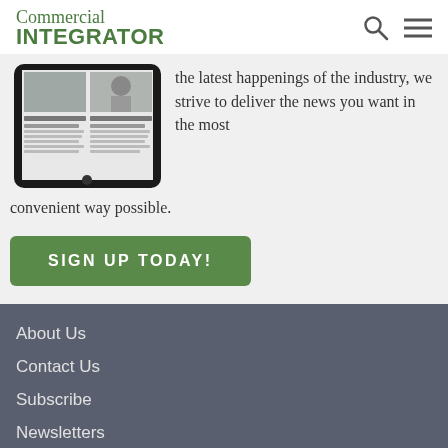Commercial INTEGRATOR
[Figure (screenshot): Tablet device showing Commercial Integrator website with two article thumbnails]
the latest happenings of the industry, we strive to deliver the news you want in the most convenient way possible.
SIGN UP TODAY!
About Us
Contact Us
Subscribe
Newsletters
RSS Feeds